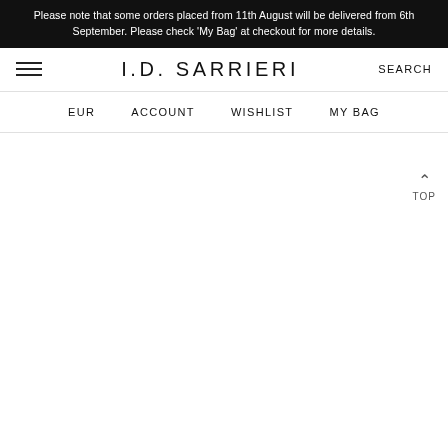Please note that some orders placed from 11th August will be delivered from 6th September. Please check 'My Bag' at checkout for more details.
I.D. SARRIERI
EUR  ACCOUNT  WISHLIST  MY BAG
TOP